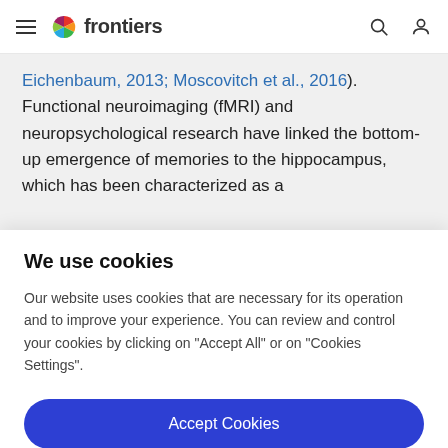frontiers
Eichenbaum, 2013; Moscovitch et al., 2016). Functional neuroimaging (fMRI) and neuropsychological research have linked the bottom-up emergence of memories to the hippocampus, which has been characterized as a
We use cookies
Our website uses cookies that are necessary for its operation and to improve your experience. You can review and control your cookies by clicking on "Accept All" or on "Cookies Settings".
Accept Cookies
Cookies Settings